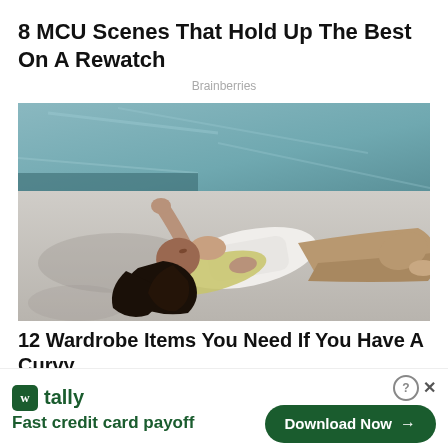8 MCU Scenes That Hold Up The Best On A Rewatch
Brainberries
[Figure (photo): Woman in white top and tan pants lying on concrete near a pool, hair spread out, looking up, with a yellow cardigan underneath her.]
12 Wardrobe Items You Need If You Have A Curvy Body Sh...
[Figure (logo): Tally app advertisement banner. Green Tally icon with letter W, text 'tally' and 'Fast credit card payoff' in green. Download Now button on right. Close/help icons top right.]